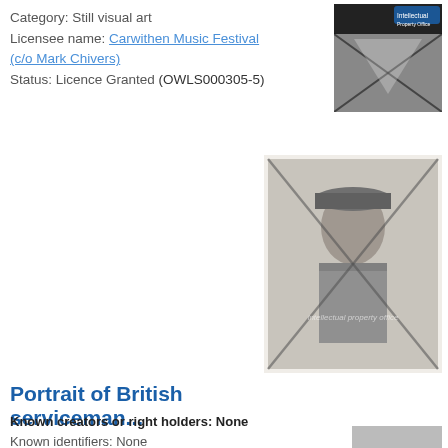Category: Still visual art
Licensee name: Carwithen Music Festival (c/o Mark Chivers)
Status: Licence Granted (OWLS000305-5)
[Figure (photo): Intellectual Property Office watermarked image, black and white, appears to show a document or glass panel with diagonal cross watermark overlay, IPO logo visible top right]
[Figure (photo): Black and white portrait photograph of a British serviceman in military uniform and cap, with diagonal cross watermark overlay and 'intellectual property office' text watermark]
Portrait of British serviceman...
Known creators or right holders: None
Known identifiers: None
Category: Still visual art
Licensee name: Museum of the Order of St John
Status: Licence Expired (OWLS000010-1)